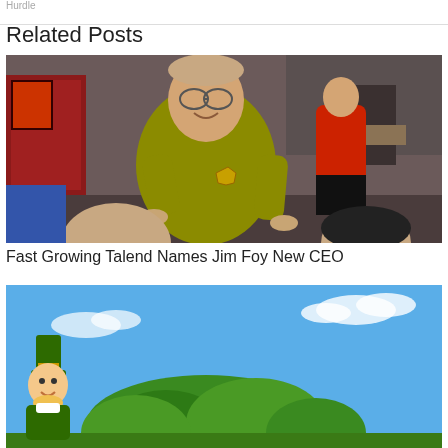Hurdle
Related Posts
[Figure (photo): A composite photo showing a man's face photoshopped onto a Star Trek character in a gold uniform, with other Star Trek characters in the background including one in a red shirt.]
Fast Growing Talend Names Jim Foy New CEO
[Figure (photo): A photo showing a blue sky with green trees and a cartoon leprechaun character visible at the bottom left.]